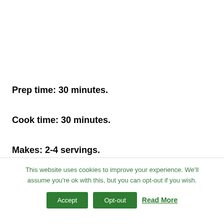Prep time: 30 minutes.
Cook time: 30 minutes.
Makes: 2-4 servings.
This website uses cookies to improve your experience. We'll assume you're ok with this, but you can opt-out if you wish.
Accept | Opt-out | Read More